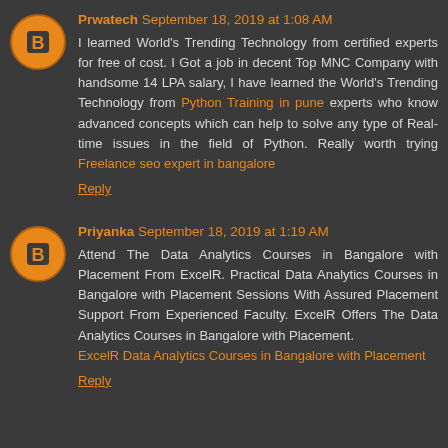Prwatech September 18, 2019 at 1:08 AM
I learned World's Trending Technology from certified experts for free of cost. I Got a job in decent Top MNC Company with handsome 14 LPA salary, I have learned the World's Trending Technology from Python Training in pune experts who know advanced concepts which can help to solve any type of Real-time issues in the field of Python. Really worth trying Freelance seo expert in bangalore
Reply
Priyanka September 18, 2019 at 1:19 AM
Attend The Data Analytics Courses in Bangalore with Placement From ExcelR. Practical Data Analytics Courses in Bangalore with Placement Sessions With Assured Placement Support From Experienced Faculty. ExcelR Offers The Data Analytics Courses in Bangalore with Placement. ExcelR Data Analytics Courses in Bangalore with Placement
Reply